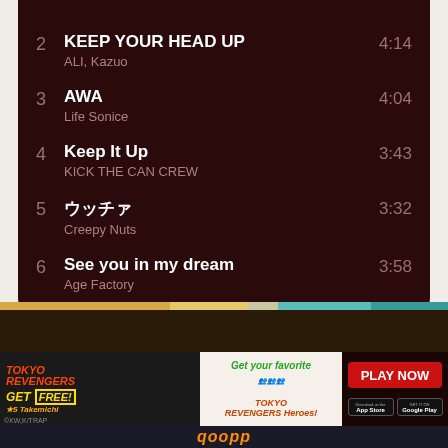2  KEEP YOUR HEAD UP  4:14
ALI, Kazuo
3  AWA  4:04
Life Sonice
4  Keep It Up  3:43
KICK THE CAN CREW
5  [Japanese]  3:32
Creepy Nuts
6  See you in my dream  3:58
Age Factory
[Figure (infographic): Tokyo Revengers game advertisement banner with Play Now button and App Store / Google Play download buttons]
qoopp